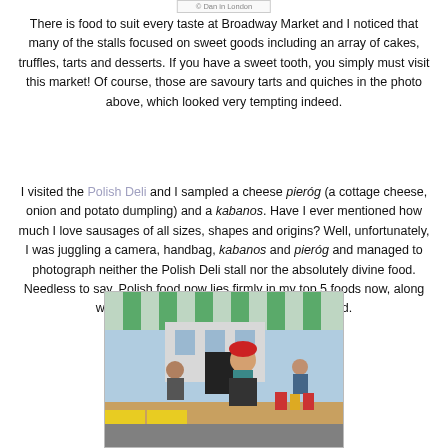© Dan in London
There is food to suit every taste at Broadway Market and I noticed that many of the stalls focused on sweet goods including an array of cakes, truffles, tarts and desserts.  If you have a sweet tooth, you simply must visit this market! Of course, those are savoury tarts and quiches in the photo above, which looked very tempting indeed.
I visited the Polish Deli and I sampled a cheese pieróg (a cottage cheese, onion and potato dumpling) and a kabanos.  Have I ever mentioned how much I love sausages of all sizes, shapes and origins?  Well, unfortunately, I was juggling a camera, handbag, kabanos and pieróg and managed to photograph neither the Polish Deli stall nor the absolutely divine food.  Needless to say, Polish food now lies firmly in my top 5 foods now, along with German, Italian, Spanish and Greek food.
[Figure (photo): A market scene with a woman in a red hat at a food stall under a striped green and white awning]